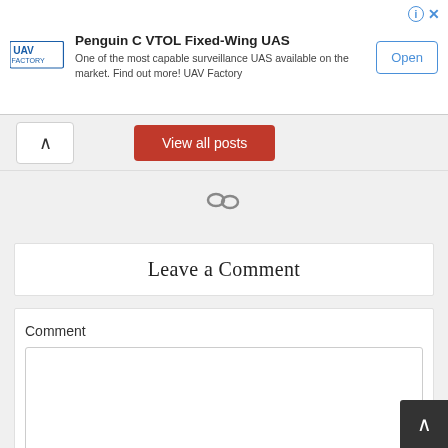[Figure (screenshot): UAV Factory advertisement banner with logo, title 'Penguin C VTOL Fixed-Wing UAS', description text, and Open button]
Penguin C VTOL Fixed-Wing UAS
One of the most capable surveillance UAS available on the market. Find out more! UAV Factory
View all posts
Leave a Comment
Comment